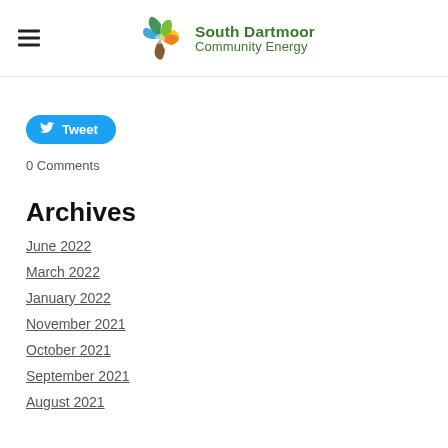South Dartmoor Community Energy
[Figure (logo): South Dartmoor Community Energy logo with colorful pinwheel/swirl icon and green text]
Tweet
0 Comments
Archives
June 2022
March 2022
January 2022
November 2021
October 2021
September 2021
August 2021